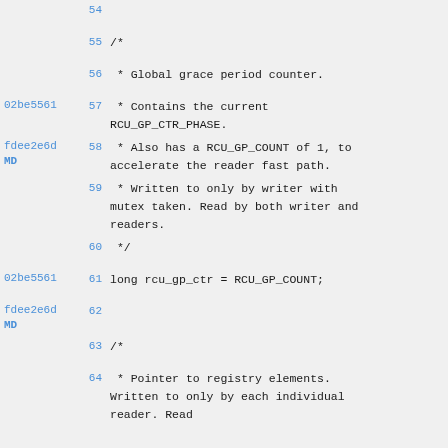Code view showing lines 54-65 of a C source file with commit annotations. Lines include a comment block describing rcu_gp_ctr variable and its declaration, followed by another comment about pointer to registry elements.